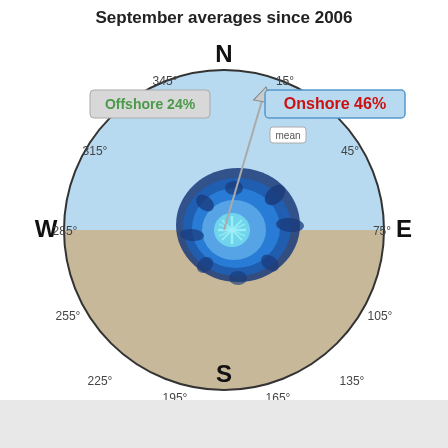September averages since 2006
[Figure (radar-chart): Wind rose / compass rose diagram showing wind direction frequency for September averages since 2006. The circle is divided into offshore (upper half, light blue) and onshore (lower half, tan/grey) regions. A blue windrose cluster is centered in the compass rose, with petals extending primarily in the NE quadrant. Cardinal directions N, E, S, W and degree markings at 15, 45, 75, 105, 135, 165, 195, 225, 255, 285, 315, 345 degrees are shown around the circle. An arrow points toward approximately 15 degrees (NNE). Labels: Offshore 24% (green text, light grey background), Onshore 46% (red text, light blue background), mean (small label near arrow).]